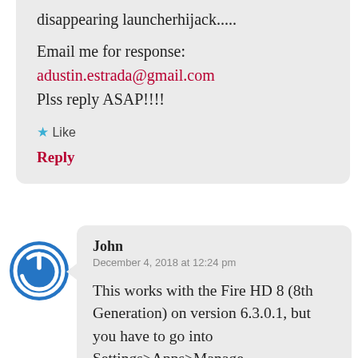disappearing launcherhijack.....
Email me for response: adustin.estrada@gmail.com Plss reply ASAP!!!!
★ Like
Reply
[Figure (illustration): Blue circular avatar icon with a power/on-off symbol in white]
John
December 4, 2018 at 12:24 pm
This works with the Fire HD 8 (8th Generation) on version 6.3.0.1, but you have to go into Settings>Apps>Manage All>LauncherHijack and tick